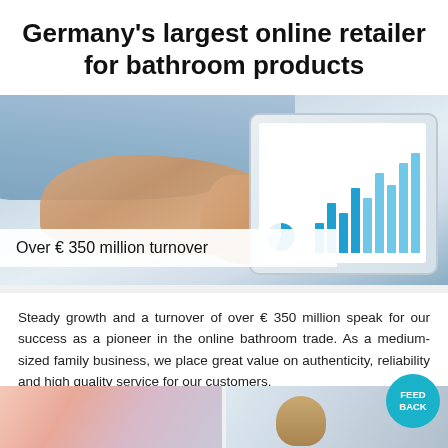Germany's largest online retailer for bathroom products
[Figure (photo): Person touching a tablet screen displaying bar charts and analytics, wearing a light blue shirt, close-up of hands on tablet]
Over € 350 million turnover
Steady growth and a turnover of over € 350 million speak for our success as a pioneer in the online bathroom trade. As a medium-sized family business, we place great value on authenticity, reliability and high quality service for our customers.
[Figure (photo): Bottom strip showing two partial photos at bottom of page]